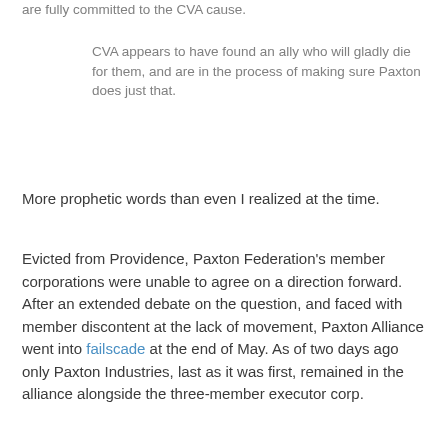are fully committed to the CVA cause.
CVA appears to have found an ally who will gladly die for them, and are in the process of making sure Paxton does just that.
More prophetic words than even I realized at the time.
Evicted from Providence, Paxton Federation’s member corporations were unable to agree on a direction forward. After an extended debate on the question, and faced with member discontent at the lack of movement, Paxton Alliance went into failscade at the end of May. As of two days ago only Paxton Industries, last as it was first, remained in the alliance alongside the three-member executor corp.
This caught most Providence watchers by surprise. Paxton had the reputation of a well-run alliance that managed the difficult feat of doing both industry and pvp exceptionally well. Despite their eviction from Providence, they’d had much advance notice of events. They’d fought well against